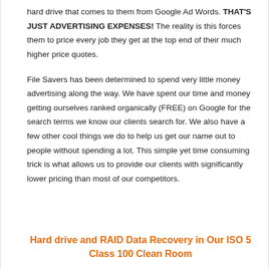hard drive that comes to them from Google Ad Words. THAT'S JUST ADVERTISING EXPENSES! The reality is this forces them to price every job they get at the top end of their much higher price quotes.
File Savers has been determined to spend very little money advertising along the way. We have spent our time and money getting ourselves ranked organically (FREE) on Google for the search terms we know our clients search for. We also have a few other cool things we do to help us get our name out to people without spending a lot. This simple yet time consuming trick is what allows us to provide our clients with significantly lower pricing than most of our competitors.
Hard drive and RAID Data Recovery in Our ISO 5 Class 100 Clean Room